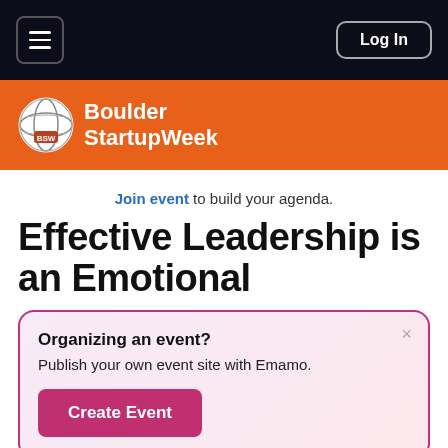≡   Log In
[Figure (logo): Boulder Startup Week logo with globe icon on orange background]
Join event to build your agenda.
Effective Leadership is an Emotional
[Figure (infographic): Popup dialog: Organizing an event? Publish your own event site with Emamo. Create Event button.]